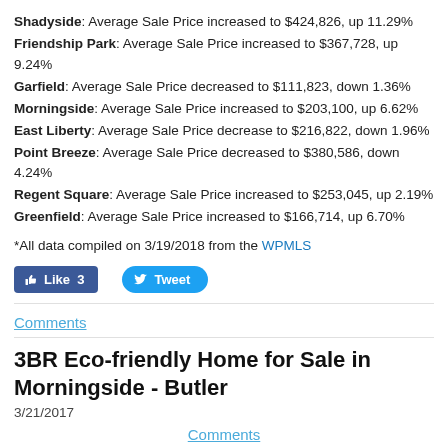Shadyside: Average Sale Price increased to $424,826, up 11.29%
Friendship Park: Average Sale Price increased to $367,728, up 9.24%
Garfield: Average Sale Price decreased to $111,823, down 1.36%
Morningside: Average Sale Price increased to $203,100, up 6.62%
East Liberty: Average Sale Price decrease to $216,822, down 1.96%
Point Breeze: Average Sale Price decreased to $380,586, down 4.24%
Regent Square: Average Sale Price increased to $253,045, up 2.19%
Greenfield: Average Sale Price increased to $166,714, up 6.70%
*All data compiled on 3/19/2018 from the WPMLS
[Figure (other): Facebook Like button (count: 3) and Twitter Tweet button]
Comments
3BR Eco-friendly Home for Sale in Morningside - Butler
3/21/2017
Comments